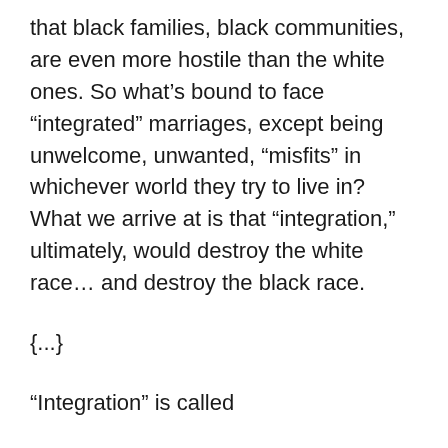that black families, black communities, are even more hostile than the white ones. So what's bound to face “integrated” marriages, except being unwelcome, unwanted, “misfits” in whichever world they try to live in? What we arrive at is that “integration,” ultimately, would destroy the white race… and destroy the black race.
{...}
“Integration” is called